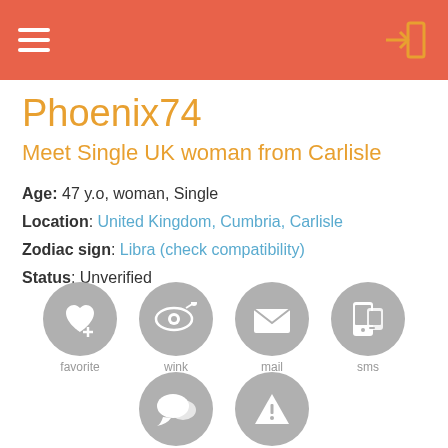Phoenix74 — navigation header with hamburger menu and login icon
Phoenix74
Meet Single UK woman from Carlisle
Age: 47 y.o, woman, Single
Location: United Kingdom, Cumbria, Carlisle
Zodiac sign: Libra (check compatibility)
Status: Unverified
[Figure (infographic): Six action buttons in gray circles: favorite (heart+), wink (eye+), mail (envelope), sms (phone), chat (speech bubble), report (warning triangle)]